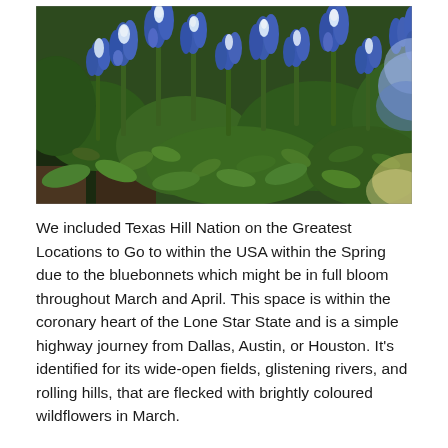[Figure (photo): Close-up photograph of Texas bluebonnet wildflowers in bloom, showing clusters of blue and white lupine-type flowers with green foliage, taken with shallow depth of field.]
We included Texas Hill Nation on the Greatest Locations to Go to within the USA within the Spring due to the bluebonnets which might be in full bloom throughout March and April. This space is within the coronary heart of the Lone Star State and is a simple highway journey from Dallas, Austin, or Houston. It's identified for its wide-open fields, glistening rivers, and rolling hills, that are flecked with brightly coloured wildflowers in March.